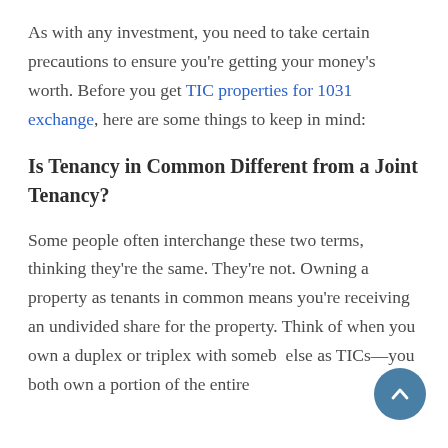As with any investment, you need to take certain precautions to ensure you're getting your money's worth. Before you get TIC properties for 1031 exchange, here are some things to keep in mind:
Is Tenancy in Common Different from a Joint Tenancy?
Some people often interchange these two terms, thinking they're the same. They're not. Owning a property as tenants in common means you're receiving an undivided share for the property. Think of when you own a duplex or triplex with somebody else as TICs—you both own a portion of the entire